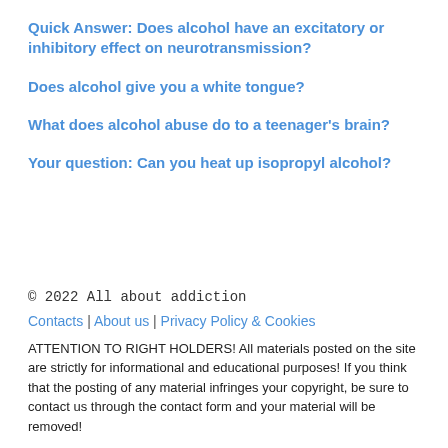Quick Answer: Does alcohol have an excitatory or inhibitory effect on neurotransmission?
Does alcohol give you a white tongue?
What does alcohol abuse do to a teenager's brain?
Your question: Can you heat up isopropyl alcohol?
© 2022 All about addiction
Contacts | About us | Privacy Policy & Cookies
ATTENTION TO RIGHT HOLDERS! All materials posted on the site are strictly for informational and educational purposes! If you think that the posting of any material infringes your copyright, be sure to contact us through the contact form and your material will be removed!